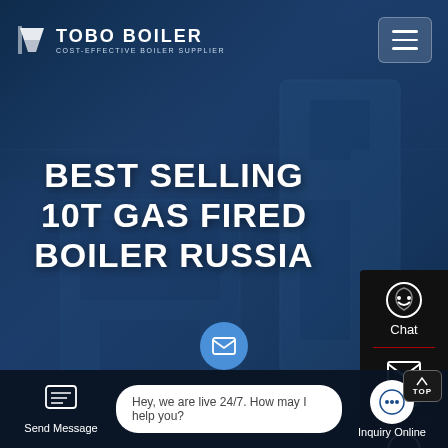[Figure (screenshot): Tobo Boiler website screenshot with dark blue industrial boiler background image]
TOBO BOILER COST-EFFECTIVE BOILER SUPPLIER
BEST SELLING 10T GAS FIRED BOILER RUSSIA
Chat
Email
Contact
Send Message
Hey, we are live 24/7. How may I help you?
Inquiry Online